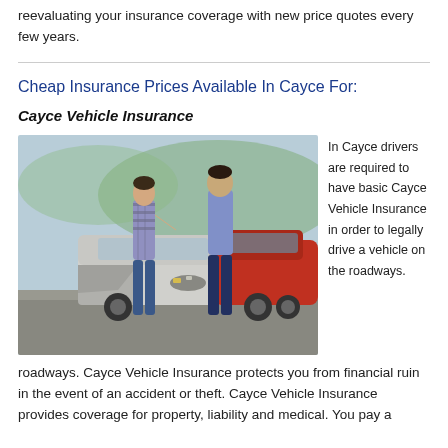reevaluating your insurance coverage with new price quotes every few years.
Cheap Insurance Prices Available In Cayce For:
Cayce Vehicle Insurance
[Figure (photo): Two men standing near front of a car collision — one in plaid shirt gesturing, one in blue shirt, with a damaged silver and red car visible]
In Cayce drivers are required to have basic Cayce Vehicle Insurance in order to legally drive a vehicle on the roadways. Cayce Vehicle Insurance protects you from financial ruin in the event of an accident or theft. Cayce Vehicle Insurance provides coverage for property, liability and medical. You pay a
roadways. Cayce Vehicle Insurance protects you from financial ruin in the event of an accident or theft. Cayce Vehicle Insurance provides coverage for property, liability and medical. You pay a